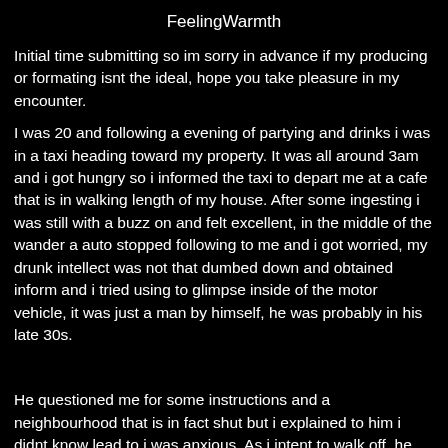FeelingWarmth
Initial time submitting so im sorry in advance if my producing or formating isnt the ideal, hope you take pleasure in my encounter.
I was 20 and following a evening of partying and drinks i was in a taxi heading toward my property. It was all around 3am and i got hungry so i informed the taxi to depart me at a cafe that is in walking length of my house. After some ingesting i was still with a buzz on and felt excellent, in the middle of the wander a auto stopped following to me and i got worried, my drunk intellect was not that dumbed down and obtained inform and i tried using to glimpse inside of the motor vehicle, it was just a man by himself, he was probably in his late 30s.
&#x200B;
He questioned me for some instructions and a neighbourhood that is in fact shut but i explained to him i didnt know lead to i was anxious. As i intent to walk off, he